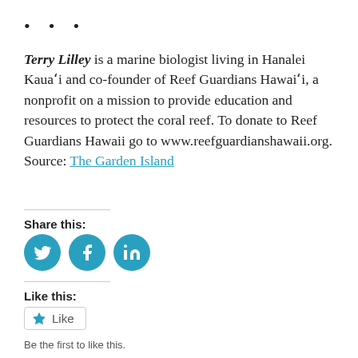...
Terry Lilley is a marine biologist living in Hanalei Kauaʻi and co-founder of Reef Guardians Hawaiʻi, a nonprofit on a mission to provide education and resources to protect the coral reef. To donate to Reef Guardians Hawaii go to www.reefguardianshawaii.org. Source: The Garden Island
Share this:
[Figure (infographic): Three circular social media share buttons in teal/blue: Twitter bird icon, Facebook 'f' icon, LinkedIn 'in' icon]
Like this:
Like
Be the first to like this.